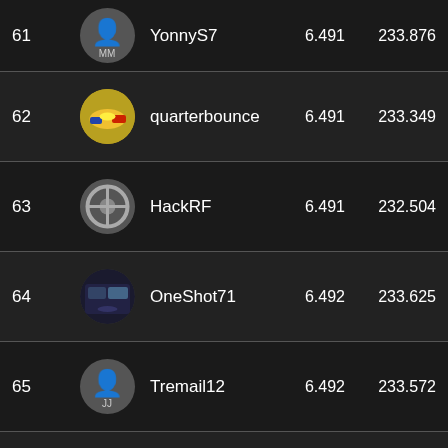| Rank | Avatar | Username | Stat1 | Stat2 |
| --- | --- | --- | --- | --- |
| 61 |  | YonnyS7 | 6.491 | 233.876 |
| 62 |  | quarterbounce | 6.491 | 233.349 |
| 63 |  | HackRF | 6.491 | 232.504 |
| 64 |  | OneShot71 | 6.492 | 233.625 |
| 65 |  | Tremail12 | 6.492 | 233.572 |
| 66 |  | budman1985 | 6.492 | 233.292 |
| 67 |  | sbot216 | 6.492 | 231.818 |
| 68 |  | KingSpade43 | 6.492 | 230.778 |
| 69 |  | BigDaddyit1 | 6.493 | 233.381 |
| 70 |  | Birchboy13 | 6.493 | 232.747 |